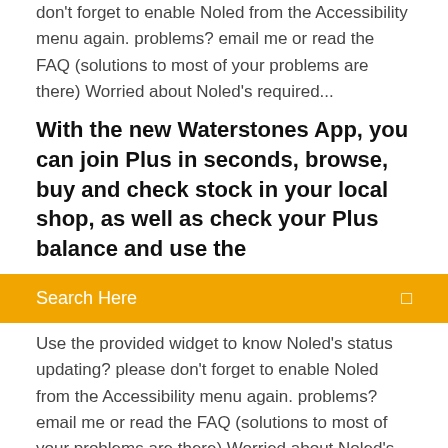don't forget to enable Noled from the Accessibility menu again. problems? email me or read the FAQ (solutions to most of your problems are there) Worried about Noled's required...
With the new Waterstones App, you can join Plus in seconds, browse, buy and check stock in your local shop, as well as check your Plus balance and use the
Search Here
Use the provided widget to know Noled's status updating? please don't forget to enable Noled from the Accessibility menu again. problems? email me or read the FAQ (solutions to most of your problems are there) Worried about Noled's required... British Gas app for android. Download British Gas .APK in AppCrawlr! With this all new Daily Tarot card reading app, get the best love tarot reading, single / three card reading, state of mind reading and psychic reading free on Through the VidMate official download site, you can download the best youtube downloader app such as vidmate app for free. Download